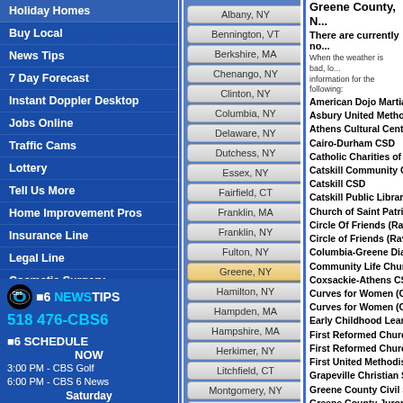Holiday Homes
Buy Local
News Tips
7 Day Forecast
Instant Doppler Desktop
Jobs Online
Traffic Cams
Lottery
Tell Us More
Home Improvement Pros
Insurance Line
Legal Line
Cosmetic Surgery Infoline
Contests & Games
FAQ
[Figure (logo): CBS 6 News Tips logo with phone number 518 476-CBS6]
[Figure (logo): CBS 6 Schedule box showing NOW schedule: 3:00 PM - CBS Golf, 6:00 PM - CBS 6 News, Saturday, 8:00 PM - Crime Time Saturday]
Albany, NY
Bennington, VT
Berkshire, MA
Chenango, NY
Clinton, NY
Columbia, NY
Delaware, NY
Dutchess, NY
Essex, NY
Fairfield, CT
Franklin, MA
Franklin, NY
Fulton, NY
Greene, NY
Hamilton, NY
Hampden, MA
Hampshire, MA
Herkimer, NY
Litchfield, CT
Montgomery, NY
Oneida, NY
Greene County, N...
There are currently no...
When the weather is bad, lo... information for the following:
American Dojo Martial A...
Asbury United Methodis...
Athens Cultural Center
Cairo-Durham CSD
Catholic Charities of Gre...
Catskill Community Cer...
Catskill CSD
Catskill Public Library
Church of Saint Patrick
Circle Of Friends (Rave...
Circle of Friends (Raven...
Columbia-Greene Dialy...
Community Life Church
Coxsackie-Athens CSD
Curves for Women (Cat...
Curves for Women (Cox...
Early Childhood Learnin...
First Reformed Church
First Reformed Church
First United Methodist (...
Grapeville Christian Sch...
Greene County Civil Se...
Greene County Jurors
Greene County Nutritio...
Greene County Senior C...
Greene County Transit
Greene County WIC Pr...